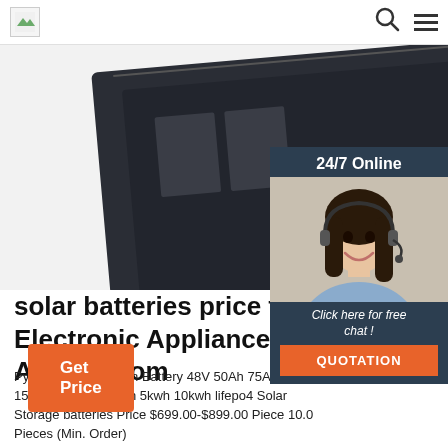[Figure (screenshot): Website navigation bar with logo, search icon, and hamburger menu icon]
[Figure (photo): Dark-colored solar battery storage unit photographed from an angle showing the side and front panel]
[Figure (infographic): 24/7 Online chat widget showing a female customer service representative with headset, with 'Click here for free chat!' text and orange QUOTATION button]
solar batteries price for Electronic Appliances - Alibaba.com
Pylontech Lithium Ion Battery 48V 50Ah 75Ah 100Ah 150Ah US3000 3kwh 5kwh 10kwh lifepo4 Solar Storage batteries Price $699.00-$899.00 Piece 10.0 Pieces (Min. Order)
[Figure (other): Orange 'Get Price' button]